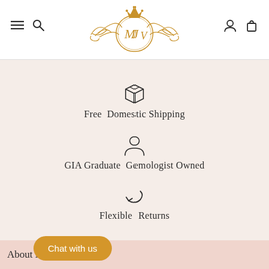[Figure (logo): MJV ornate monogram logo in gold with decorative scrollwork and crown]
Free Domestic Shipping
GIA Graduate Gemologist Owned
Flexible Returns
Chat with us
About Maejean Vintage